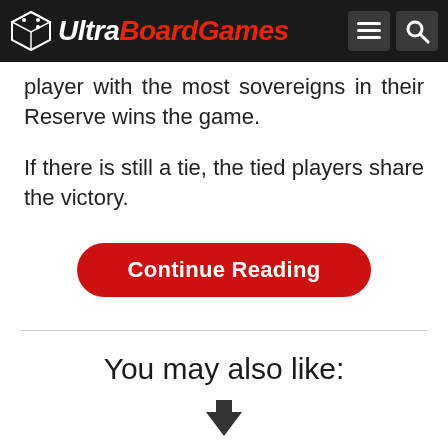UltraBoardGames
player with the most sovereigns in their Reserve wins the game.
If there is still a tie, the tied players share the victory.
[Figure (other): Continue Reading button — red rounded rectangle button with white text]
You may also like:
[Figure (other): Down arrow icon indicating scroll or navigation]